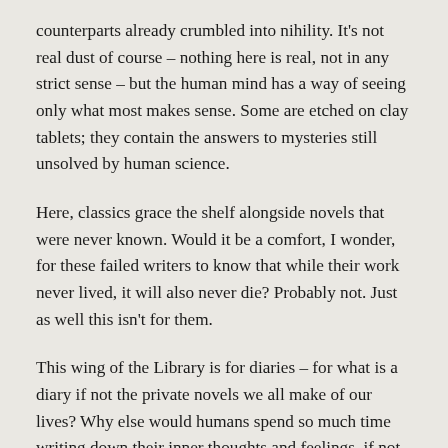counterparts already crumbled into nihility. It’s not real dust of course – nothing here is real, not in any strict sense – but the human mind has a way of seeing only what most makes sense. Some are etched on clay tablets; they contain the answers to mysteries still unsolved by human science.
Here, classics grace the shelf alongside novels that were never known. Would it be a comfort, I wonder, for these failed writers to know that while their work never lived, it will also never die? Probably not. Just as well this isn’t for them.
This wing of the Library is for diaries – for what is a diary if not the private novels we all make of our lives? Why else would humans spend so much time writing down their inner thoughts and feelings, if not for some sense of prosperity? Golden-edged manuscripts detailing the inner thoughts of Princes and Saints are